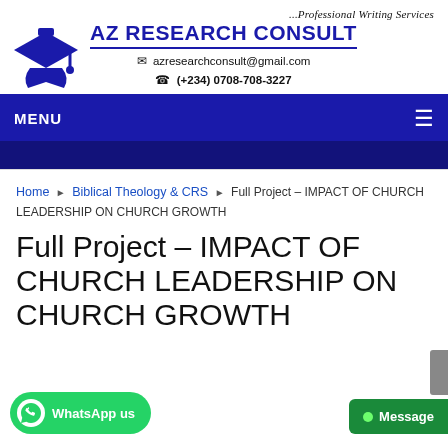[Figure (logo): AZ Research Consult logo with graduation cap icon, tagline '...Professional Writing Services', email azresearchconsult@gmail.com, phone (+234) 0708-708-3227]
MENU
Home ▶ Biblical Theology & CRS ▶ Full Project – IMPACT OF CHURCH LEADERSHIP ON CHURCH GROWTH
Full Project – IMPACT OF CHURCH LEADERSHIP ON CHURCH GROWTH